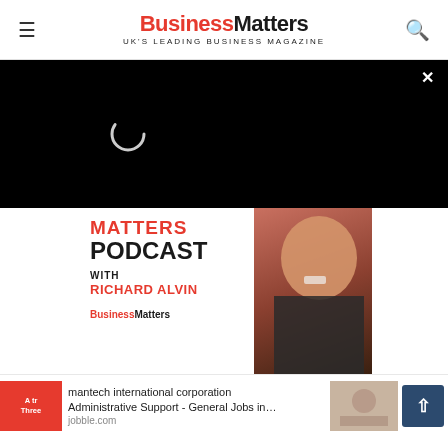BusinessMatters UK'S LEADING BUSINESS MAGAZINE
[Figure (screenshot): Black video overlay with loading spinner (circle) and close X button in top right]
[Figure (photo): Matters Podcast with Richard Alvin - Business Matters podcast banner image featuring a man in a dark suit with orange tie]
mantech international corporation Administrative Support - General Jobs in… jobble.com